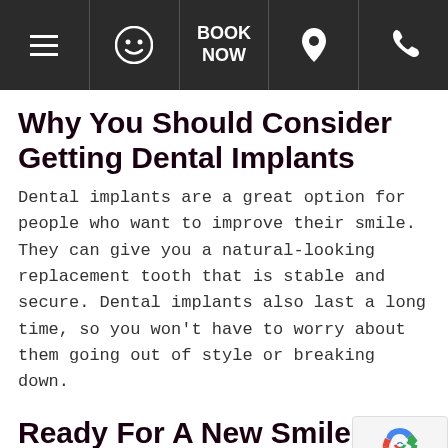☰  😊  BOOK NOW  📍  📞
Why You Should Consider Getting Dental Implants
Dental implants are a great option for people who want to improve their smile. They can give you a natural-looking replacement tooth that is stable and secure. Dental implants also last a long time, so you won't have to worry about them going out of style or breaking down.
Ready For A New Smile?
If you are considering getting dental